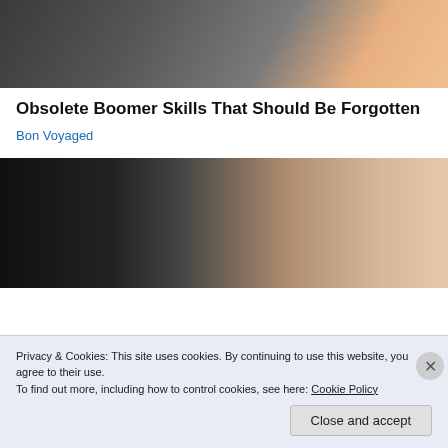[Figure (photo): Partial view of a person in black clothing with pink top visible, holding something near a bag/organizer with a watch on wrist.]
Obsolete Boomer Skills That Should Be Forgotten
Bon Voyaged
[Figure (photo): Close-up selfie of two people: a Black person wearing headphones on the left and a white woman with brown hair on the right.]
Privacy & Cookies: This site uses cookies. By continuing to use this website, you agree to their use.
To find out more, including how to control cookies, see here: Cookie Policy
Close and accept